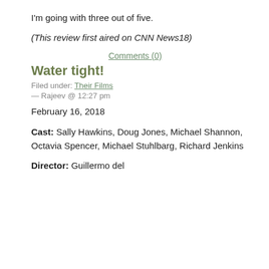I'm going with three out of five.
(This review first aired on CNN News18)
Comments (0)
Water tight!
Filed under: Their Films — Rajeev @ 12:27 pm
February 16, 2018
Cast: Sally Hawkins, Doug Jones, Michael Shannon, Octavia Spencer, Michael Stuhlbarg, Richard Jenkins
Director: Guillermo del